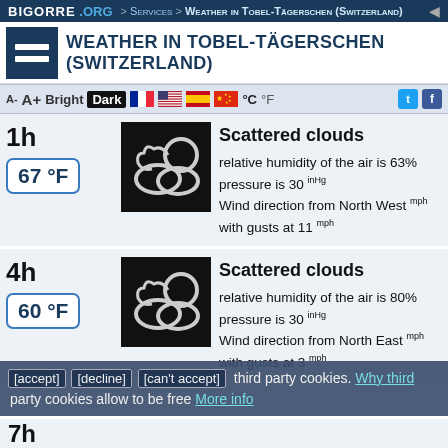BIGORRE .ORG > Services > Weather in Tobel-Tägerschen (Switzerland)
Weather in Tobel-Tägerschen (Switzerland)
A- A+ Bright Dark °C °F
1h – 67 °F – Scattered clouds – relative humidity of the air is 63% – pressure is 30 inHg – Wind direction from North West mph with gusts at 11 mph
4h – 60 °F – Scattered clouds – relative humidity of the air is 80% – pressure is 30 inHg – Wind direction from North East mph with gusts at 3 mph
7h
[accept] [decline] [can't accept] third party cookies. Why third party cookies allow to be free More info